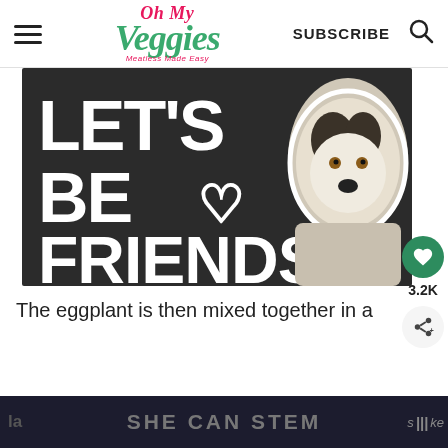Oh My Veggies — Meatless Made Easy | SUBSCRIBE
[Figure (photo): Dark background promotional image with bold white text reading 'LET'S BE ♡ FRIENDS' alongside a photo of a husky dog.]
[Figure (infographic): Social sidebar with green heart button showing 3.2K likes and a share button.]
The eggplant is then mixed together in a
[Figure (infographic): Dark banner at bottom reading 'SHE CAN STEM' with partial text visible on sides.]